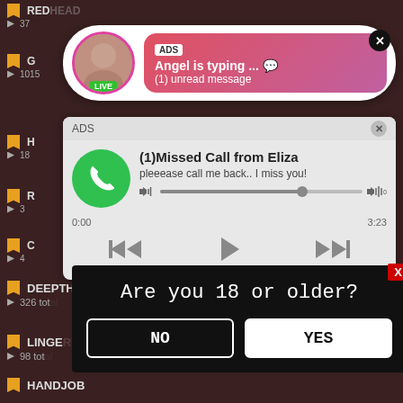[Figure (screenshot): Ad notification popup: avatar with LIVE badge, pink gradient box showing 'ADS', 'Angel is typing ... 💬', '(1) unread message', close button]
[Figure (screenshot): Ad popup for missed call: green phone circle, '(1)Missed Call from Eliza', 'pleeease call me back.. I miss you!', audio player with progress bar, timestamps 0:00 and 3:23, playback controls]
DEEPTHROAT
326 total
LINGERIE
98 total
[Figure (screenshot): Age verification modal: black background, 'Are you 18 or older?', NO and YES buttons, red X close button]
HANDJOB